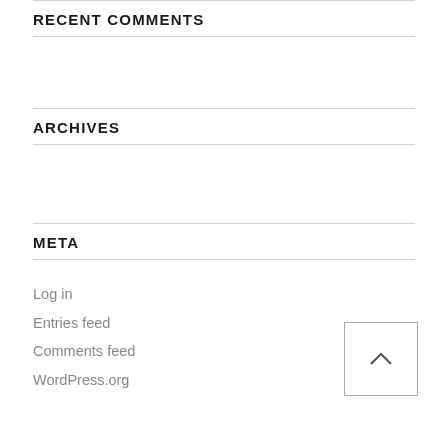RECENT COMMENTS
ARCHIVES
META
Log in
Entries feed
Comments feed
WordPress.org